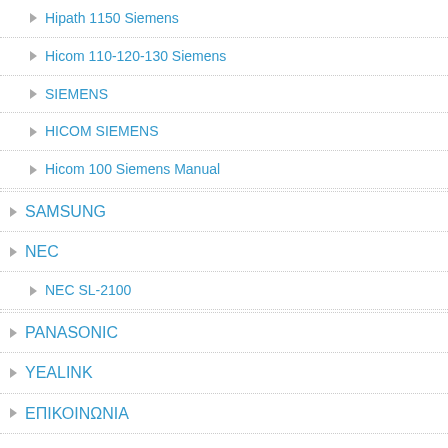Hipath 1150 Siemens
Hicom 110-120-130 Siemens
SIEMENS
HICOM SIEMENS
Hicom 100 Siemens Manual
SAMSUNG
NEC
NEC SL-2100
PANASONIC
YEALINK
ΕΠΙΚΟΙΝΩΝΙΑ